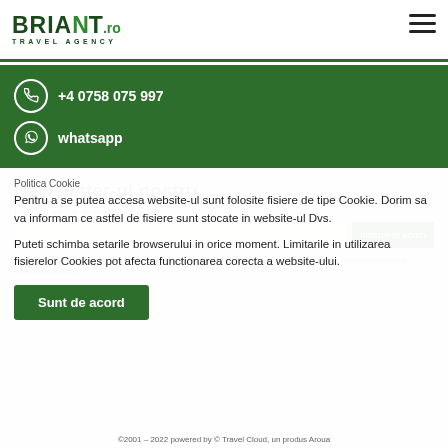[Figure (logo): Briant.ro Travel Agency logo with green arrow graphic]
+4 0758 075 997
whatsapp
Politica Cookie
Newsletter-ul nostru
Introduci adresa de email
Inscrie-te acum
Prin utilizarea formularului cu datele cu caracter personal ale clientului se va confirma ca vedeti sa comunicam deseori informatii/solicitare.
Pentru a se putea accesa website-ul sunt folosite fisiere de tipe Cookie. Dorim sa va informam ce astfel de fisiere sunt stocate in website-ul Dvs.
Puteti schimba setarile browserului in orice moment. Limitarile in utilizarea fisierelor Cookies pot afecta functionarea corecta a website-ului.
Sunt de acord
©2001 – 2022 powered by © Travel Cloud, un produs Aroua